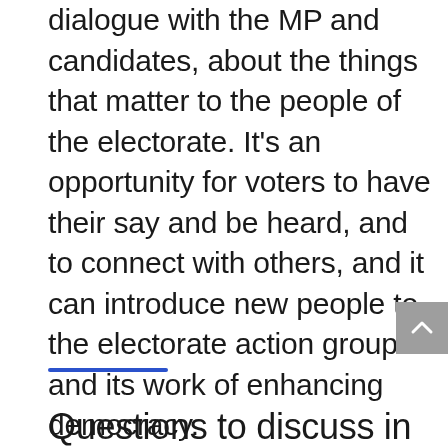dialogue with the MP and candidates, about the things that matter to the people of the electorate. It's an opportunity for voters to have their say and be heard, and to connect with others, and it can introduce new people to the electorate action group and its work of enhancing democracy.
Questions to discuss in